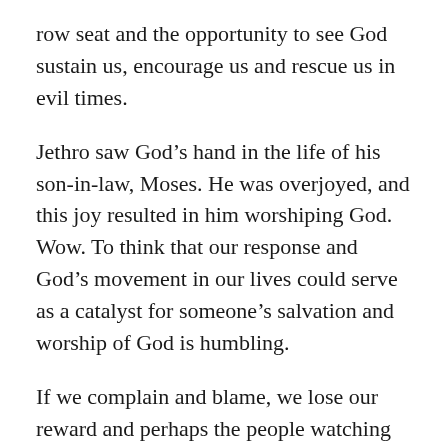row seat and the opportunity to see God sustain us, encourage us and rescue us in evil times.
Jethro saw God’s hand in the life of his son-in-law, Moses. He was overjoyed, and this joy resulted in him worshiping God. Wow. To think that our response and God’s movement in our lives could serve as a catalyst for someone’s salvation and worship of God is humbling.
If we complain and blame, we lose our reward and perhaps the people watching us do, too. If we surrender, God is glorified, His fame spreads and victory is ours. Those troubles at the beginning of this blog? They were all just a few of what I have personally faced. They caused me to cry out to God, despite my need to confront my own lack of trust in Him for the suffering I faced.